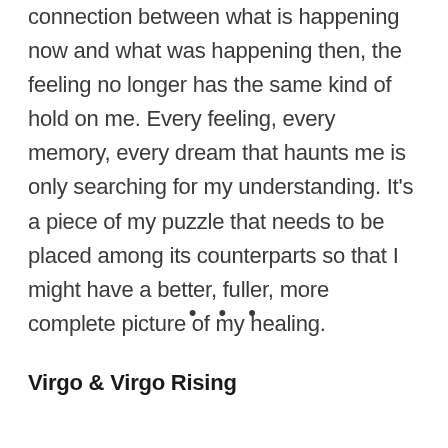connection between what is happening now and what was happening then, the feeling no longer has the same kind of hold on me. Every feeling, every memory, every dream that haunts me is only searching for my understanding. It’s a piece of my puzzle that needs to be placed among its counterparts so that I might have a better, fuller, more complete picture of my healing.
•••
Virgo & Virgo Rising